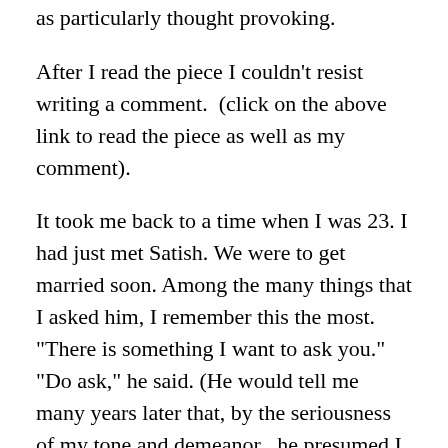as particularly thought provoking.
After I read the piece I couldn't resist writing a comment.  (click on the above link to read the piece as well as my comment).
It took me back to a time when I was 23. I had just met Satish. We were to get married soon. Among the many things that I asked him, I remember this the most.
"There is something I want to ask you."
"Do ask," he said. (He would tell me many years later that, by the seriousness  of my tone and demeanor , he presumed I was going to confess that I already had a